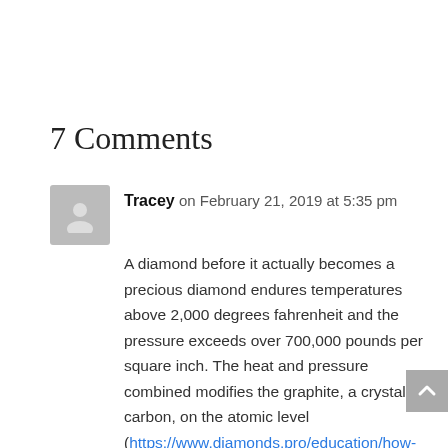7 Comments
Tracey on February 21, 2019 at 5:35 pm
A diamond before it actually becomes a precious diamond endures temperatures above 2,000 degrees fahrenheit and the pressure exceeds over 700,000 pounds per square inch. The heat and pressure combined modifies the graphite, a crystalline carbon, on the atomic level (https://www.diamonds.pro/education/how-diamonds-are-formed/). Like a diamond, you my dear, resided deep within the earth prior to arriving to the surface. Like a diamond, you